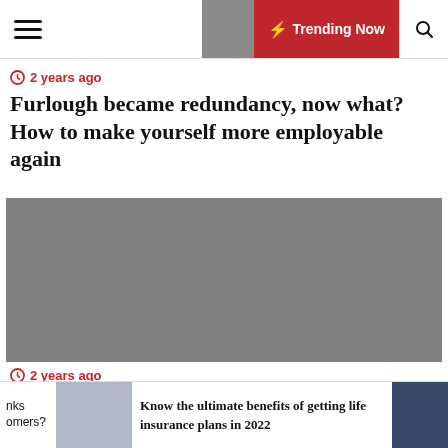Trending Now
2 years ago
Furlough became redundancy, now what? How to make yourself more employable again
[Figure (photo): Gray placeholder image for article about being underpaid]
2 years ago
How to find out if you are being underpaid
Know the ultimate benefits of getting life insurance plans in 2022